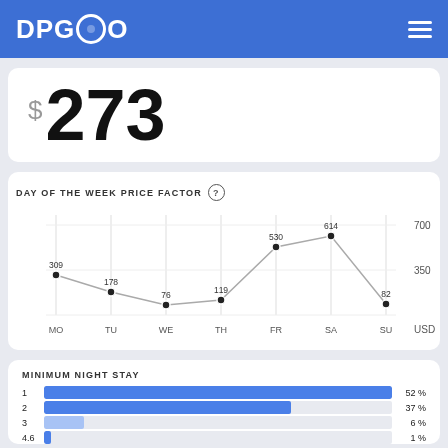DPGO
$273
DAY OF THE WEEK PRICE FACTOR
[Figure (line-chart): DAY OF THE WEEK PRICE FACTOR]
MINIMUM NIGHT STAY
[Figure (bar-chart): MINIMUM NIGHT STAY]